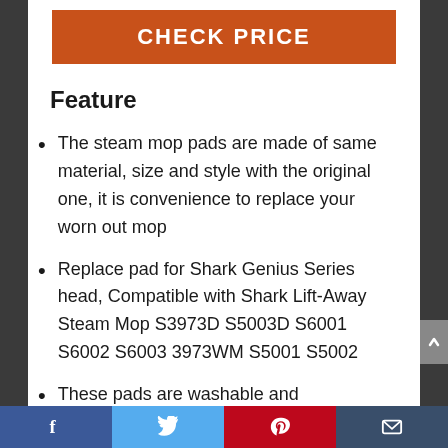[Figure (other): Orange CHECK PRICE button banner]
Feature
The steam mop pads are made of same material, size and style with the original one, it is convenience to replace your worn out mop
Replace pad for Shark Genius Series head, Compatible with Shark Lift-Away Steam Mop S3973D S5003D S6001 S6002 S6003 3973WM S5001 S5002
These pads are washable and
Facebook | Twitter | Pinterest | Email